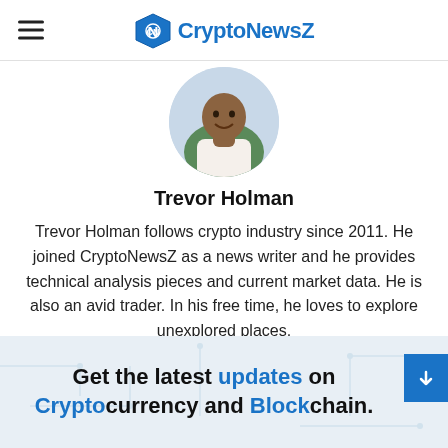CryptoNewsZ
[Figure (photo): Circular profile photo of Trevor Holman]
Trevor Holman
Trevor Holman follows crypto industry since 2011. He joined CryptoNewsZ as a news writer and he provides technical analysis pieces and current market data. He is also an avid trader. In his free time, he loves to explore unexplored places.
Get the latest updates on Cryptocurrency and Blockchain.